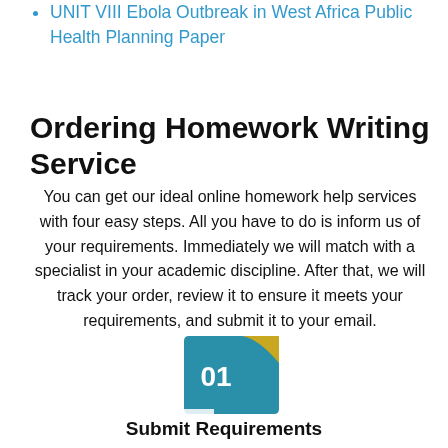UNIT VIII Ebola Outbreak in West Africa Public Health Planning Paper
Ordering Homework Writing Service
You can get our ideal online homework help services with four easy steps. All you have to do is inform us of your requirements. Immediately we will match with a specialist in your academic discipline. After that, we will track your order, review it to ensure it meets your requirements, and submit it to your email.
[Figure (infographic): A decorative icon showing '01' on a teal/blue and gold/yellow folded shape, representing step 1 of a process.]
Submit Requirements